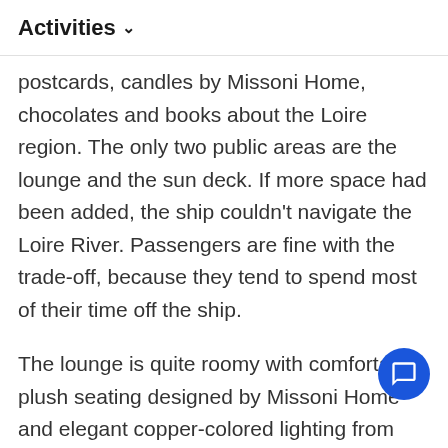Activities ∨
postcards, candles by Missoni Home, chocolates and books about the Loire region. The only two public areas are the lounge and the sun deck. If more space had been added, the ship couldn't navigate the Loire River. Passengers are fine with the trade-off, because they tend to spend most of their time off the ship.
The lounge is quite roomy with comfortable, plush seating designed by Missoni Home and elegant copper-colored lighting from Tom Dixon. Couches are arranged around small tables, which makes for easy conversation. In good weather, the sun deck is the place to be. It spans the entire third deck and